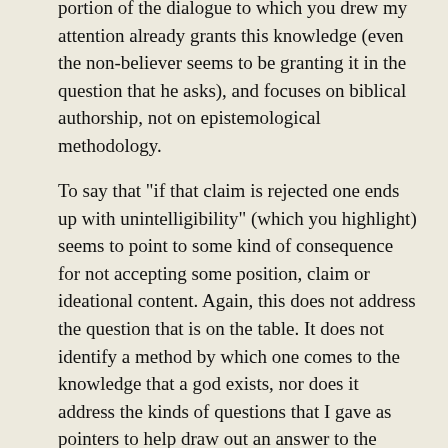portion of the dialogue to which you drew my attention already grants this knowledge (even the non-believer seems to be granting it in the question that he asks), and focuses on biblical authorship, not on epistemological methodology.
To say that "if that claim is rejected one ends up with unintelligibility" (which you highlight) seems to point to some kind of consequence for not accepting some position, claim or ideational content. Again, this does not address the question that is on the table. It does not identify a method by which one comes to the knowledge that a god exists, nor does it address the kinds of questions that I gave as pointers to help draw out an answer to the question, which the unbeliever in Chris' dialogue asked several times.
As for your statement that "there is much unpacking required of this statement," this suggests that the statement in question has a lot of explaining to do, which only speaks against its ability to address the question on the